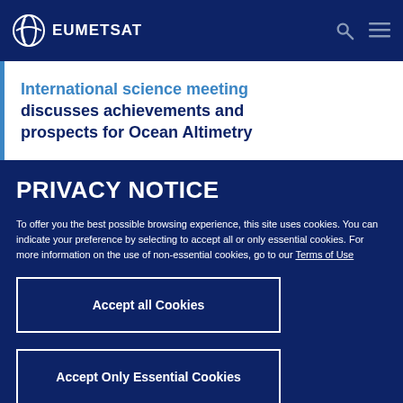EUMETSAT
International science meeting discusses achievements and prospects for Ocean Altimetry
PRIVACY NOTICE
To offer you the best possible browsing experience, this site uses cookies. You can indicate your preference by selecting to accept all or only essential cookies. For more information on the use of non-essential cookies, go to our Terms of Use
Accept all Cookies
Accept Only Essential Cookies